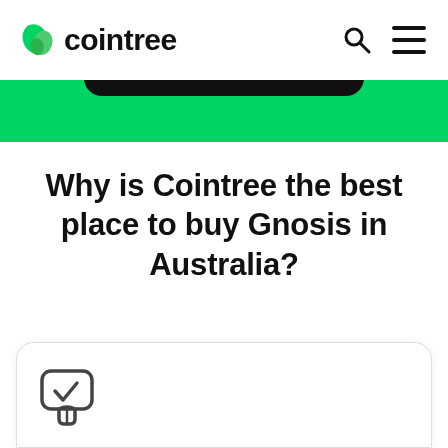cointree
[Figure (screenshot): Cointree website screenshot showing navigation bar with logo, search and menu icons, green banner section, heading about buying Gnosis in Australia, and a card with a verification/check icon at the bottom.]
Why is Cointree the best place to buy Gnosis in Australia?